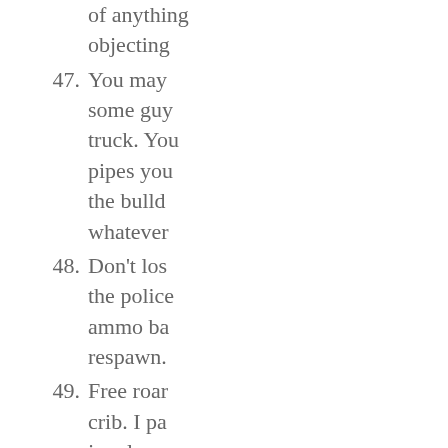of anything objecting
47. You may some guy truck. You pipes you the bulld whatever
48. Don't los the police ammo ba respawn.
49. Free roar crib. I pa jungle pa panned u realize Fr case), the Triggered